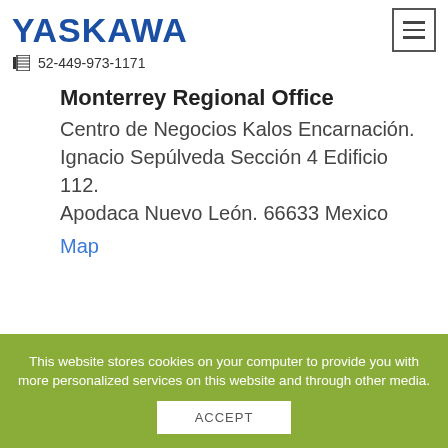YASKAWA
52-449-973-1171
Monterrey Regional Office
Centro de Negocios Kalos Encarnación.
Ignacio Sepúlveda Sección 4 Edificio 112.
Apodaca Nuevo León. 66633 Mexico
Map
This website stores cookies on your computer to provide you with more personalized services on this website and through other media.
ACCEPT